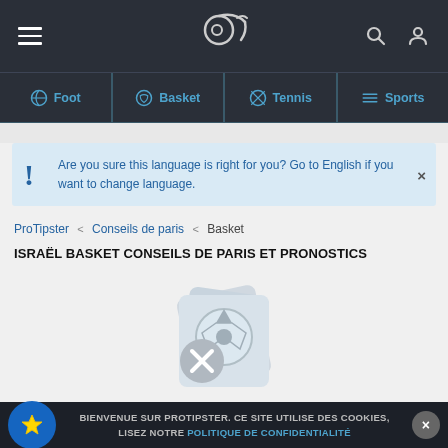ProTipster navigation bar with hamburger menu, logo, search and user icons
[Figure (screenshot): Sport category tabs: Foot, Basket, Tennis, Sports]
Are you sure this language is right for you? Go to English if you want to change language.
ProTipster < Conseils de paris < Basket
ISRAËL BASKET CONSEILS DE PARIS ET PRONOSTICS
[Figure (illustration): Empty state icon: greyed-out soccer ball cards with a cross/cancel icon]
Il n'y a pas d'événements à venir
BIENVENUE SUR PROTIPSTER. CE SITE UTILISE DES COOKIES, LISEZ NOTRE POLITIQUE DE CONFIDENTIALITÉ